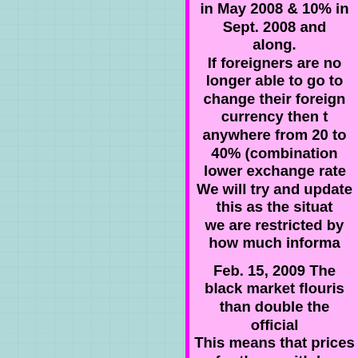in May 2008 & 10% in Sept. 2008 and along. If foreigners are no longer able to go to change their foreign currency then t anywhere from 20 to 40% (combination lower exchange rate We will try and update this as the situa we are restricted by how much informa Feb. 15, 2009 The black market flouris than double the official This means that prices for those with ha very reasonable. Aug. 25, 2009. The alternate exchange r above the controlled r Oct. 6, 2009. The government is trying rate through the sale of US$ denominated bonds. T effect and has resulted in a drop of about 15% been slowly rising ag